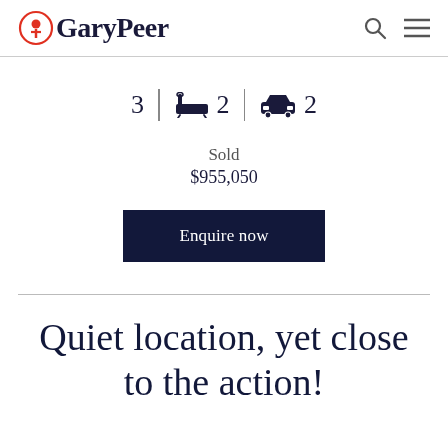GaryPeer
3 | 🛁 2 | 🚗 2
Sold
$955,050
Enquire now
Quiet location, yet close to the action!